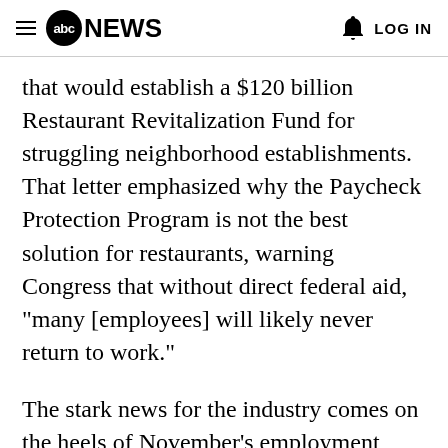abc NEWS  LOG IN
that would establish a $120 billion Restaurant Revitalization Fund for struggling neighborhood establishments. That letter emphasized why the Paycheck Protection Program is not the best solution for restaurants, warning Congress that without direct federal aid, "many [employees] will likely never return to work."
The stark news for the industry comes on the heels of November's employment report that showed food and drinking places lost 17,400 jobs last month and are still down over 2.1 million jobs since the start of the pandemic,